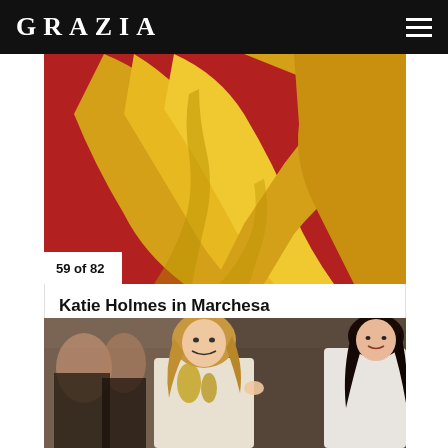GRAZIA
[Figure (photo): Yellow dress with long flowing skirt trailing on a red carpet, seen from the waist down]
59 of 82
Katie Holmes in Marchesa
[Figure (photo): Two women at an event. A blonde woman smiling in a white embellished gown stands next to a brunette woman in a white strapless dress. Photographers visible in the background.]